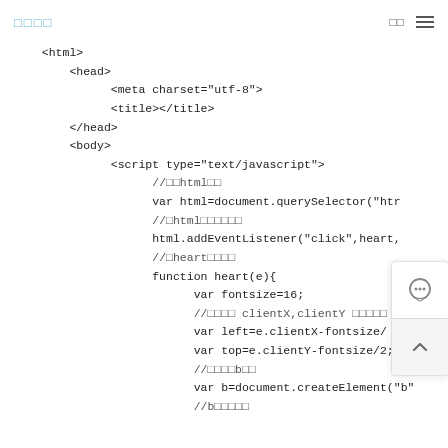□□□□  □□  ☰
<html>
    <head>
        <meta charset="utf-8">
        <title></title>
    </head>
    <body>
        <script type="text/javascript">
            //□□html□□
            var html=document.querySelector("htr
            //□html□□□□□□
            html.addEventListener("click",heart,
            //□heart□□□□
            function heart(e){
                var fontsize=16;
                //□□□□ clientX,clientY □□□□□
                var left=e.clientX-fontsize/
                var top=e.clientY-fontsize/2;
                //□□□□b□□
                var b=document.createElement("b"
                //b□□□□□